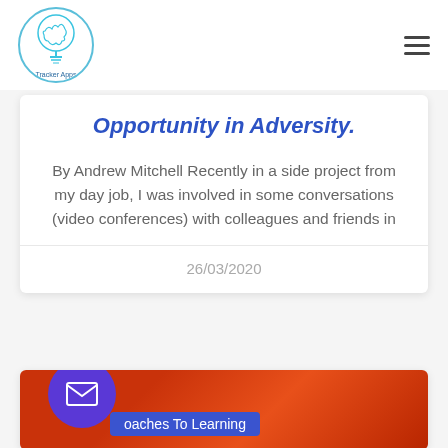[Figure (logo): Tracker Apps brain/lightbulb logo in a circle with cyan border]
Opportunity in Adversity.
By Andrew Mitchell Recently in a side project from my day job, I was involved in some conversations (video conferences) with colleagues and friends in
26/03/2020
[Figure (photo): Partial card with orange/red background photo and blue label reading 'oaches To Learning']